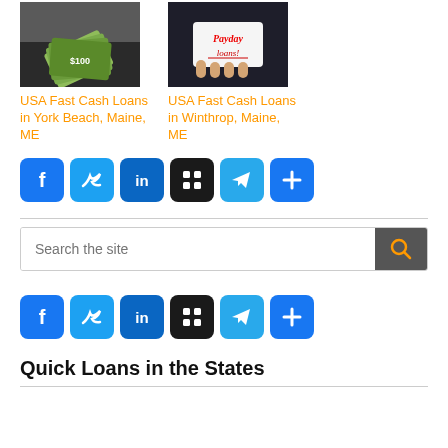[Figure (photo): Person in suit holding a fan of US dollar bills]
[Figure (photo): Person holding a card that says 'Payday loans!']
USA Fast Cash Loans in York Beach, Maine, ME
USA Fast Cash Loans in Winthrop, Maine, ME
[Figure (infographic): Social sharing icons row: Facebook, Twitter, LinkedIn, Myspace, Telegram, Share]
[Figure (infographic): Search bar with magnifying glass button]
[Figure (infographic): Social sharing icons row: Facebook, Twitter, LinkedIn, Myspace, Telegram, Share]
Quick Loans in the States